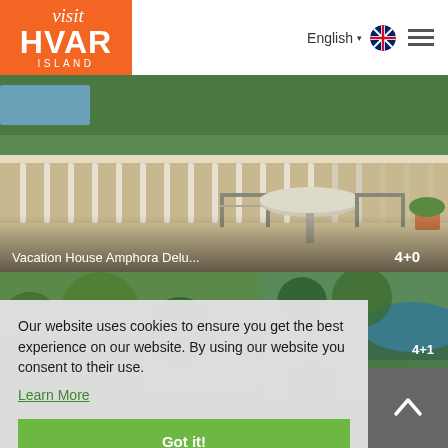[Figure (logo): Visit Hvar Island logo - orange square with white italic 'visit' text above bold 'HVAR' and 'ISLAND' below]
English
[Figure (photo): Vacation house terrace with white railing, chairs and table, trees and water in background]
Vacation House Amphora Delu...
4+0
[Figure (photo): Aerial view of green hillside with blue sea cove - small thumbnail]
4+1
[Figure (photo): Aerial view of forested peninsula with sea - small thumbnail]
2+1
[Figure (photo): Aerial or landscape photo of Hvar island greenery and sea visible at bottom]
Our website uses cookies to ensure you get the best experience on our website. By using our website you consent to their use.
Learn More
Got it!